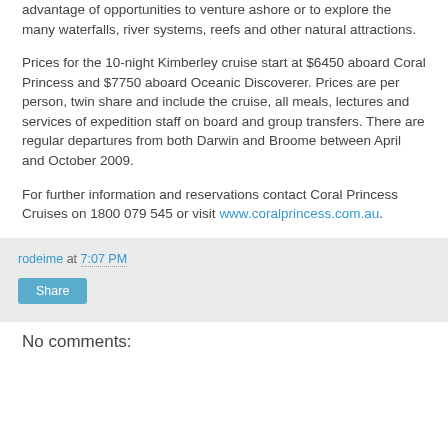advantage of opportunities to venture ashore or to explore the many waterfalls, river systems, reefs and other natural attractions.
Prices for the 10-night Kimberley cruise start at $6450 aboard Coral Princess and $7750 aboard Oceanic Discoverer. Prices are per person, twin share and include the cruise, all meals, lectures and services of expedition staff on board and group transfers. There are regular departures from both Darwin and Broome between April and October 2009.
For further information and reservations contact Coral Princess Cruises on 1800 079 545 or visit www.coralprincess.com.au.
rodeime at 7:07 PM
Share
No comments: